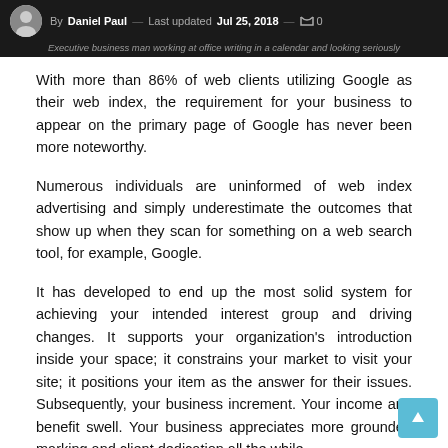By Daniel Paul — Last updated Jul 25, 2018 — 0 | Executive business man working at office writing in a calendar and looking seriously
With more than 86% of web clients utilizing Google as their web index, the requirement for your business to appear on the primary page of Google has never been more noteworthy.
Numerous individuals are uninformed of web index advertising and simply underestimate the outcomes that show up when they scan for something on a web search tool, for example, Google.
It has developed to end up the most solid system for achieving your intended interest group and driving changes. It supports your organization's introduction inside your space; it constrains your market to visit your site; it positions your item as the answer for their issues. Subsequently, your business increment. Your income and benefit swell. Your business appreciates more grounded marking and client dedication all the while.